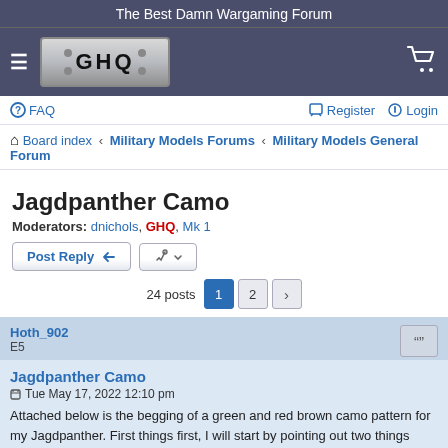The Best Damn Wargaming Forum
[Figure (logo): GHQ logo on metallic plate with hamburger menu icon and shopping cart icon]
FAQ  Register  Login
Board index › Military Models Forums › Military Models General Forum
Jagdpanther Camo
Moderators: dnichols, GHQ, Mk 1
Post Reply  [tools]  24 posts  1  2  ›
Hoth_902
E5
Jagdpanther Camo
Tue May 17, 2022 12:10 pm
Attached below is the begging of a green and red brown camo pattern for my Jagdpanther. First things first, I will start by pointing out two things about the Jagdpanther photos. 1. The paint is glossy and needs to be